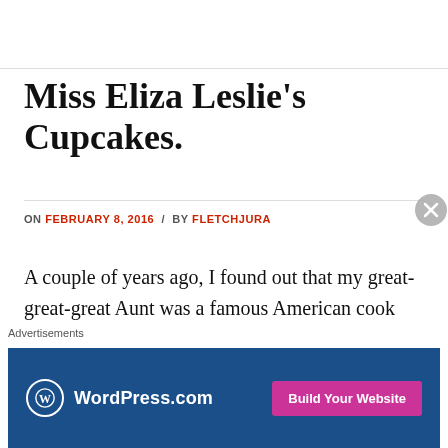Miss Eliza Leslie's Cupcakes.
ON FEBRUARY 8, 2016 / BY FLETCHJURA
A couple of years ago, I found out that my great-great-great Aunt was a famous American cook called Eliza Leslie (though she was better known as Miss Leslie). I was fairly excited by this and, as the cook in the family,
[Figure (other): WordPress.com advertisement banner with logo and 'Build Your Website' button]